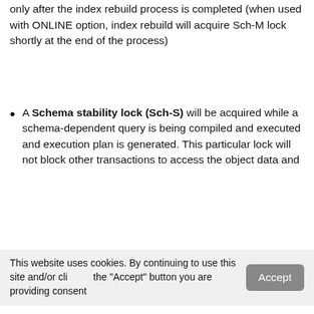only after the index rebuild process is completed (when used with ONLINE option, index rebuild will acquire Sch-M lock shortly at the end of the process)
A Schema stability lock (Sch-S) will be acquired while a schema-dependent query is being compiled and executed and execution plan is generated. This particular lock will not block other transactions to access the object data and
This website uses cookies. By continuing to use this site and/or clicking the "Accept" button you are providing consent
Quest Software and its affiliates do NOT sell the Personal Data you provide to us either when you register on our websites or when you do business with us. For more information about our Privacy Policy and our data protection efforts, please visit GDPR-HQ